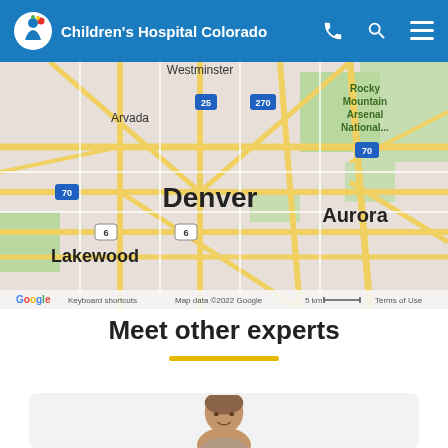Children's Hospital Colorado
[Figure (map): Google Map showing Denver, Colorado area including Westminster, Rocky Mountain Arsenal National Wildlife Refuge, Arvada, Aurora, Lakewood, with highways 25, 270, 70, 6 marked. Map data ©2022 Google, 5 km scale, Terms of Use.]
Meet other experts
[Figure (photo): Partial photo of a person (expert), showing head and shoulders, cropped at bottom of page.]